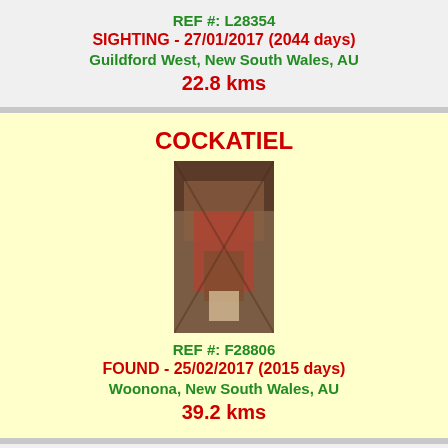REF #: L28354
SIGHTING - 27/01/2017 (2044 days)
Guildford West, New South Wales, AU
22.8 kms
COCKATIEL
[Figure (photo): Photo of a cockatiel bird]
REF #: F28806
FOUND - 25/02/2017 (2015 days)
Woonona, New South Wales, AU
39.2 kms
COCKATIEL
[Figure (photo): Photo of a cockatiel bird]